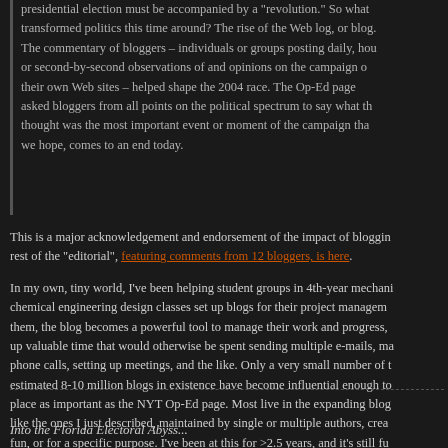presidential election must be accompanied by a "revolution." So what transformed politics this time around? The rise of the Web log, or blog. The commentary of bloggers – individuals or groups posting daily, hourly, or second-by-second observations of and opinions on the campaign on their own Web sites – helped shape the 2004 race. The Op-Ed page asked bloggers from all points on the political spectrum to say what they thought was the most important event or moment of the campaign that, we hope, comes to an end today.
This is a major acknowledgement and endorsement of the impact of blogging. The rest of the "editorial", featuring comments from 12 bloggers, is here.
In my own, tiny world, I've been helping student groups in 4th-year mechanical & chemical engineering design classes set up blogs for their project management. For them, the blog becomes a powerful tool to manage their work and progress, freeing up valuable time that would otherwise be spent sending multiple e-mails, making phone calls, setting up meetings, and the like. Only a very small number of the estimated 8-10 million blogs in existence have become influential enough to earn a place as important as the NYT Op-Ed page. Most live in the expanding blogosphere like the ones I just described, maintained by single or multiple authors, created for fun, or for a specific purpose. I've been at this for >2.5 years, and it's still fun.
2 Comments »